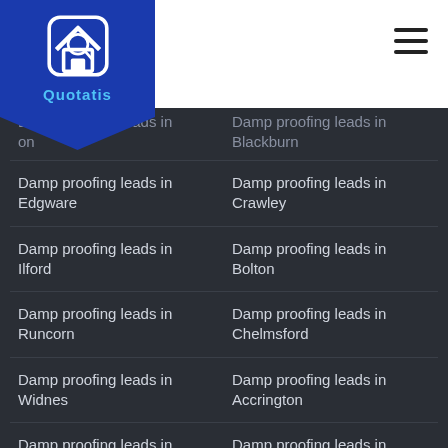Quotatis
Damp proofing leads in [partially visible: on]
Damp proofing leads in Blackburn
Damp proofing leads in Edgware
Damp proofing leads in Crawley
Damp proofing leads in Ilford
Damp proofing leads in Bolton
Damp proofing leads in Runcorn
Damp proofing leads in Chelmsford
Damp proofing leads in Widnes
Damp proofing leads in Accrington
Damp proofing leads in Dunfermline, Inverkeithing
Damp proofing leads in Loughborough
Damp proofing leads in Sale
Damp proofing leads in Londonderry
Damp proofing leads in Newry (South Down section)
Damp proofing leads in Coalville, Ibstock, Markfield
Damp proofing leads in Cheadle
Damp proofing leads in Mitcham